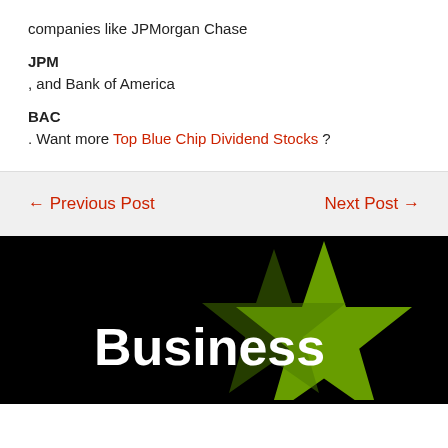companies like JPMorgan Chase
JPM
, and Bank of America
BAC
. Want more Top Blue Chip Dividend Stocks ?
← Previous Post
Next Post →
[Figure (logo): Business star logo on black background with green star graphic and white bold text reading 'Business']